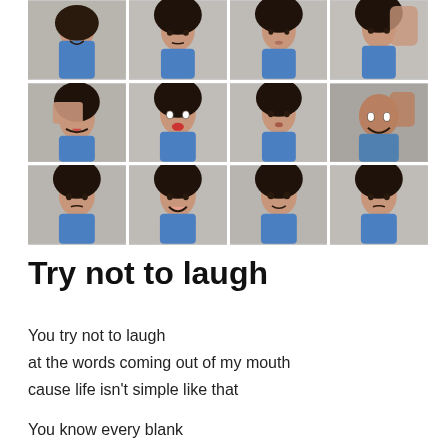[Figure (photo): A 4x3 grid of portrait photographs showing various facial expressions — smiling, surprised, pouty, laughing, serious, covering eyes — mostly featuring a woman with long dark hair in a blue top, plus one man.]
Try not to laugh
You try not to laugh
at the words coming out of my mouth
cause life isn't simple like that

You know every blank